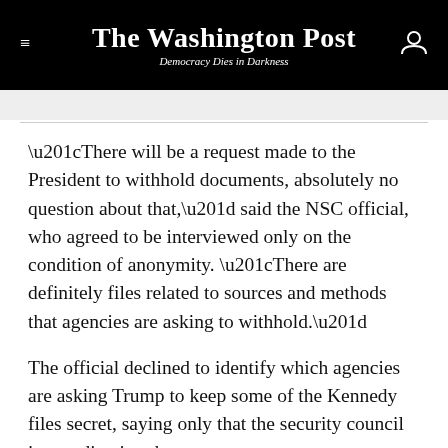The Washington Post
Democracy Dies in Darkness
“There will be a request made to the President to withhold documents, absolutely no question about that,” said the NSC official, who agreed to be interviewed only on the condition of anonymity. “There are definitely files related to sources and methods that agencies are asking to withhold.”
The official declined to identify which agencies are asking Trump to keep some of the Kennedy files secret, saying only that the security council is coordinating the requests.